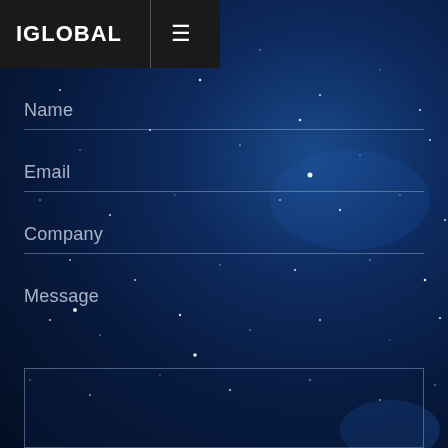IGLOBAL
Name
Email
Company
Message